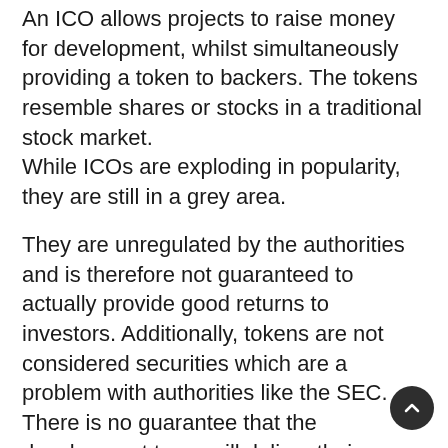An ICO allows projects to raise money for development, whilst simultaneously providing a token to backers. The tokens resemble shares or stocks in a traditional stock market. While ICOs are exploding in popularity, they are still in a grey area.
They are unregulated by the authorities and is therefore not guaranteed to actually provide good returns to investors. Additionally, tokens are not considered securities which are a problem with authorities like the SEC. There is no guarantee that the development team will deliver their promises and there is also no guarantee that your investments are secure down the road. However, no investment, even in the stock market, is a sure thing. ICOs are a new industry venture and have many unique risks that make them different (and potentially mo...